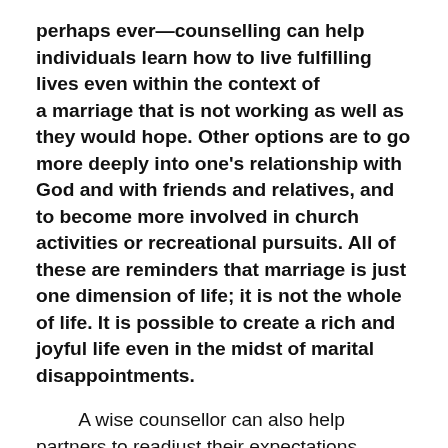perhaps ever—counselling can help individuals learn how to live fulfilling lives even within the context of a marriage that is not working as well as they would hope. Other options are to go more deeply into one's relationship with God and with friends and relatives, and to become more involved in church activities or recreational pursuits. All of these are reminders that marriage is just one dimension of life; it is not the whole of life. It is possible to create a rich and joyful life even in the midst of marital disappointments.
A wise counsellor can also help partners to readjust their expectations. Many of us go into marriage with unrealistic expectations; in some cases, no human being could ever live up to the standards we have established. Others of us have reasonable expectations but they are not realistic for the